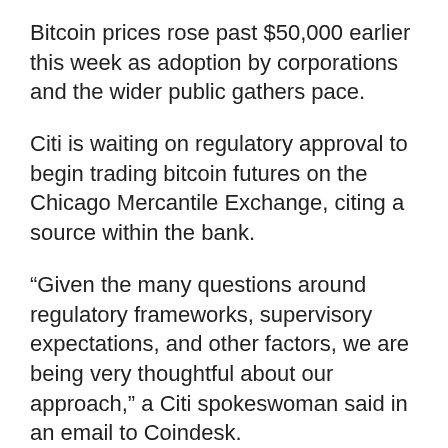Bitcoin prices rose past $50,000 earlier this week as adoption by corporations and the wider public gathers pace.
Citi is waiting on regulatory approval to begin trading bitcoin futures on the Chicago Mercantile Exchange, citing a source within the bank.
“Given the many questions around regulatory frameworks, supervisory expectations, and other factors, we are being very thoughtful about our approach,” a Citi spokeswoman said in an email to Coindesk.
BITCOIN PRICE JUMPS TO $50K IN RECOVERY
If approved, Citigroup would join Goldman Sachs in offering bitcoin futures trading.